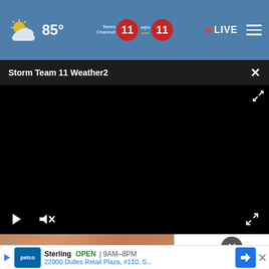85° News Channel 11 wjhl.com 11 • LIVE
Storm Team 11 Weather2
[Figure (screenshot): Black video player screen with play button, mute button, and expand button controls at bottom]
[Figure (photo): Close-up photo of human fingers/skin, partially visible at bottom of screen]
Peo This
Sterling  OPEN | 9AM–8PM  22000 Dulles Retail Plaza, #110, S...